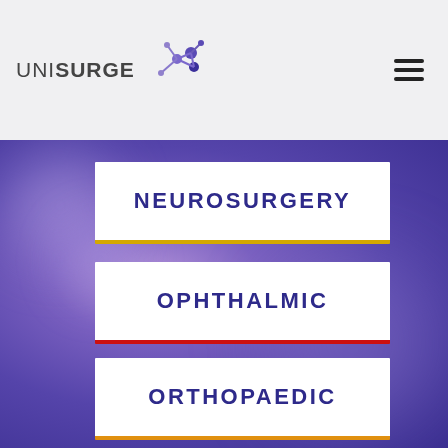UNISURGE
NEUROSURGERY
OPHTHALMIC
ORTHOPAEDIC
PLASTIC